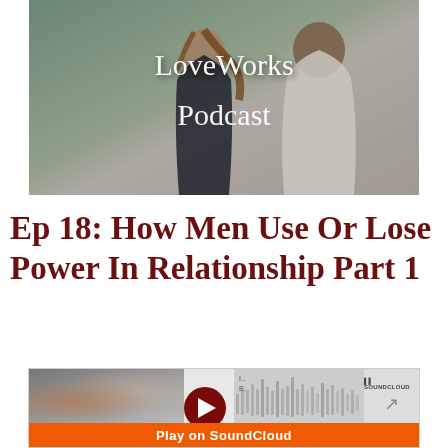[Figure (photo): Podcast cover image showing a couple (woman looking back, man beside her) with text 'LoveWorks Podcast' overlaid in white]
Ep 18: How Men Use Or Lose Power In Relationship Part 1
[Figure (screenshot): SoundCloud embedded player widget showing a play button, waveform, SoundCloud logo, and orange 'Play on SoundCloud' bar]